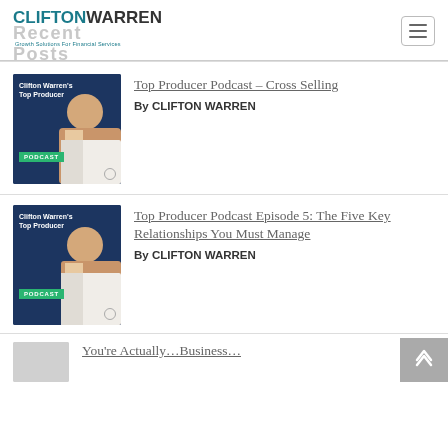CLIFTON WARREN — Recent Posts — Growth Solutions For Financial Services
[Figure (screenshot): Clifton Warren's Top Producer Podcast thumbnail — man smiling, dark blue background, green badge saying PODCAST]
Top Producer Podcast – Cross Selling
By CLIFTON WARREN
[Figure (screenshot): Clifton Warren's Top Producer Podcast thumbnail — man smiling, dark blue background, green badge saying PODCAST]
Top Producer Podcast Episode 5: The Five Key Relationships You Must Manage
By CLIFTON WARREN
You're Actually…Business…